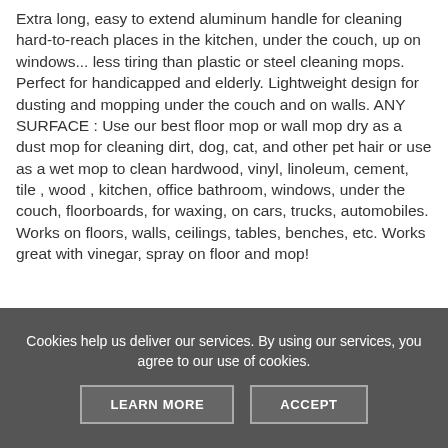Extra long, easy to extend aluminum handle for cleaning hard-to-reach places in the kitchen, under the couch, up on windows... less tiring than plastic or steel cleaning mops. Perfect for handicapped and elderly. Lightweight design for dusting and mopping under the couch and on walls. ANY SURFACE : Use our best floor mop or wall mop dry as a dust mop for cleaning dirt, dog, cat, and other pet hair or use as a wet mop to clean hardwood, vinyl, linoleum, cement, tile , wood , kitchen, office bathroom, windows, under the couch, floorboards, for waxing, on cars, trucks, automobiles. Works on floors, walls, ceilings, tables, benches, etc. Works great with vinegar, spray on floor and mop!
Cookies help us deliver our services. By using our services, you agree to our use of cookies.